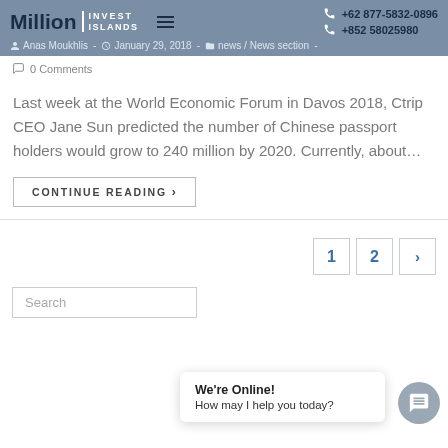Million Invest Islands | +62 877-5832-0896 | +852 58025980
Anas Moukhlis - January 29, 2018 - news / News section -
0 Comments
Last week at the World Economic Forum in Davos 2018, Ctrip CEO Jane Sun predicted the number of Chinese passport holders would grow to 240 million by 2020. Currently, about…
CONTINUE READING >
1 2 >
Search
We're Online! How may I help you today?